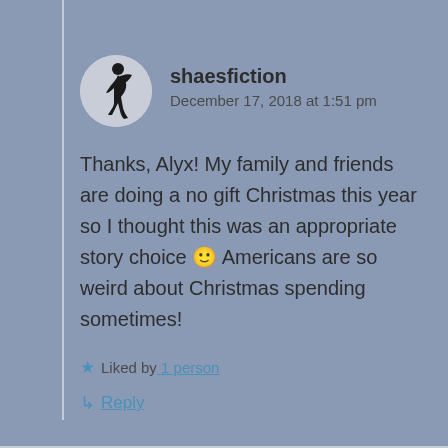[Figure (illustration): Circular avatar with silhouette of a dancer figure in black against a light grey/white background]
shaesfiction
December 17, 2018 at 1:51 pm
Thanks, Alyx! My family and friends are doing a no gift Christmas this year so I thought this was an appropriate story choice 🙂 Americans are so weird about Christmas spending sometimes!
Liked by 1 person
Reply